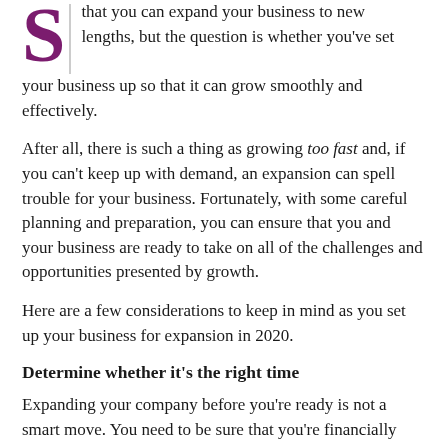S | that you can expand your business to new lengths, but the question is whether you've set your business up so that it can grow smoothly and effectively.
After all, there is such a thing as growing too fast and, if you can't keep up with demand, an expansion can spell trouble for your business. Fortunately, with some careful planning and preparation, you can ensure that you and your business are ready to take on all of the challenges and opportunities presented by growth.
Here are a few considerations to keep in mind as you set up your business for expansion in 2020.
Determine whether it's the right time
Expanding your company before you're ready is not a smart move. You need to be sure that you're financially solvent and ready to take on the time commitment to give it your all. Here are a few good signs that it's time